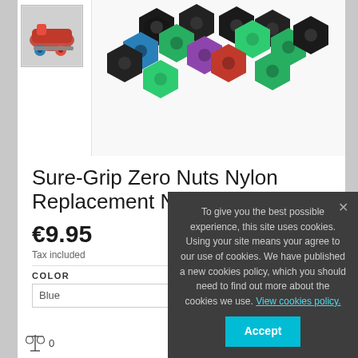[Figure (photo): Small thumbnail image showing roller skate wheels and frame, pink/red skate]
[Figure (photo): Large product image showing a pile of colorful nylon hexagonal nuts in black, green, blue, purple, and red colors]
Sure-Grip Zero Nuts Nylon Replacement Nuts(8Pk)
€9.95
Tax included
COLOR
Blue
0
To give you the best possible experience, this site uses cookies. Using your site means your agree to our use of cookies. We have published a new cookies policy, which you should need to find out more about the cookies we use. View cookies policy.
Accept